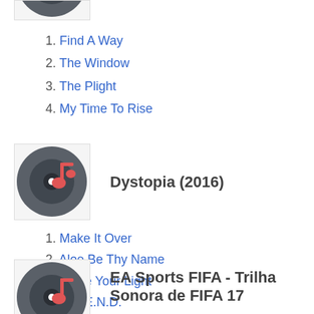[Figure (illustration): Partial album thumbnail at top — music disc icon with red music note, cropped]
1. Find A Way
2. The Window
3. The Plight
4. My Time To Rise
[Figure (illustration): Album thumbnail — dark vinyl disc with red music note icon]
Dystopia (2016)
1. Make It Over
2. Aloe Be Thy Name
3. Shine Your Light
4. The E.N.D.
[Figure (illustration): Partial album thumbnail at bottom — dark vinyl disc with red music note, cropped]
EA Sports FIFA - Trilha Sonora de FIFA 17